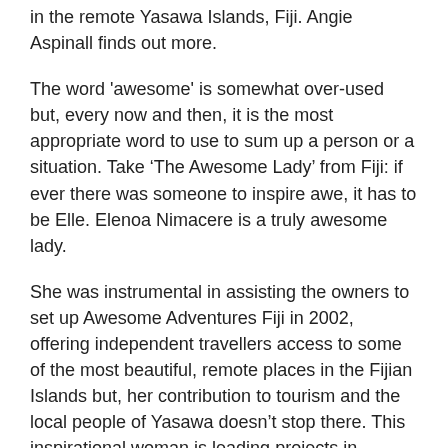in the remote Yasawa Islands, Fiji. Angie Aspinall finds out more.
The word 'awesome' is somewhat over-used but, every now and then, it is the most appropriate word to use to sum up a person or a situation. Take ‘The Awesome Lady’ from Fiji: if ever there was someone to inspire awe, it has to be Elle. Elenoa Nimacere is a truly awesome lady.
She was instrumental in assisting the owners to set up Awesome Adventures Fiji in 2002, offering independent travellers access to some of the most beautiful, remote places in the Fijian Islands but, her contribution to tourism and the local people of Yasawa doesn’t stop there. This inspirational woman is leading projects in sustainability, public health, housing, education and in securing solar power and clean water for the villages of the islands. She manages so many projects, it would make the average person’s head spin.